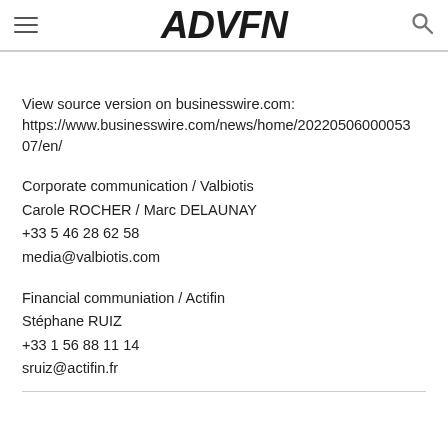ADVFN
View source version on businesswire.com: https://www.businesswire.com/news/home/20220506000530​7/en/
Corporate communication / Valbiotis
Carole ROCHER / Marc DELAUNAY
+33 5 46 28 62 58
media@valbiotis.com
Financial communiation / Actifin
Stéphane RUIZ
+33 1 56 88 11 14
sruiz@actifin.fr